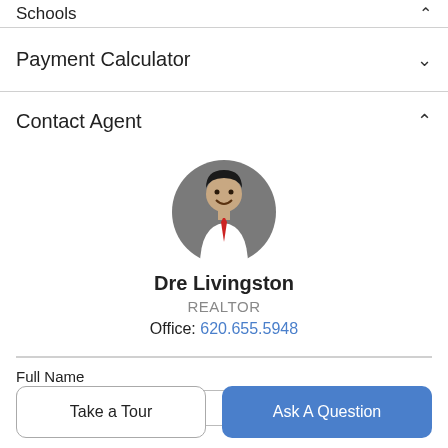Schools
Payment Calculator
Contact Agent
[Figure (photo): Circular headshot photo of Dre Livingston, a smiling man in a white shirt and red tie, against a gray background]
Dre Livingston
REALTOR
Office: 620.655.5948
Full Name
Take a Tour
Ask A Question